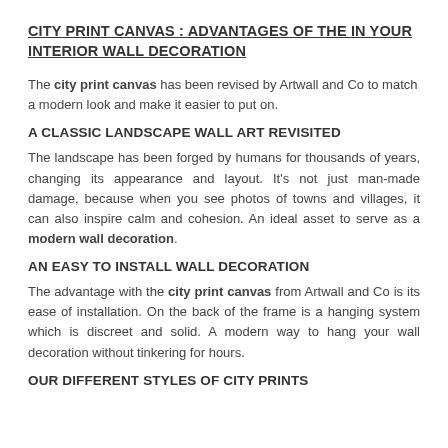CITY PRINT CANVAS : ADVANTAGES OF THE IN YOUR INTERIOR WALL DECORATION
The city print canvas has been revised by Artwall and Co to match a modern look and make it easier to put on.
A CLASSIC LANDSCAPE WALL ART REVISITED
The landscape has been forged by humans for thousands of years, changing its appearance and layout. It's not just man-made damage, because when you see photos of towns and villages, it can also inspire calm and cohesion. An ideal asset to serve as a modern wall decoration.
AN EASY TO INSTALL WALL DECORATION
The advantage with the city print canvas from Artwall and Co is its ease of installation. On the back of the frame is a hanging system which is discreet and solid. A modern way to hang your wall decoration without tinkering for hours.
OUR DIFFERENT STYLES OF CITY PRINTS